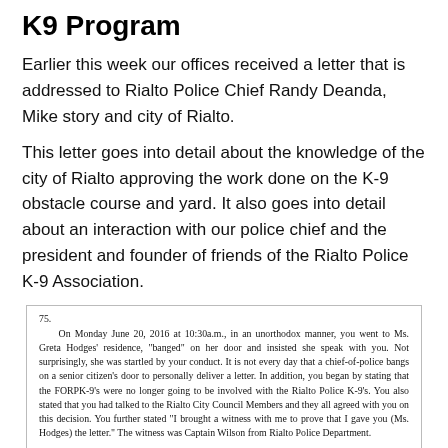K9 Program
Earlier this week our offices received a letter that is addressed to Rialto Police Chief Randy Deanda, Mike story and city of Rialto.
This letter goes into detail about the knowledge of the city of Rialto approving the work done on the K-9 obstacle course and yard. It also goes into detail about an interaction with our police chief and the president and founder of friends of the Rialto Police K-9 Association.
On Monday June 20, 2016 at 10:30a.m., in an unorthodox manner, you went to Ms. Greta Hodges' residence, "banged" on her door and insisted she speak with you. Not surprisingly, she was startled by your conduct. It is not every day that a chief-of-police bangs on a senior citizen's door to personally deliver a letter. In addition, you began by stating that the FORPK-9's were no longer going to be involved with the Rialto Police K-9's. You also stated that you had talked to the Rialto City Council Members and they all agreed with you on this decision. You further stated "I brought a witness with me to prove that I gave you (Ms. Hodges) the letter." The witness was Captain Wilson from Rialto Police Department.